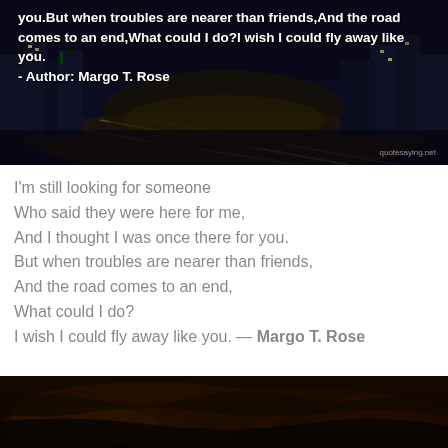[Figure (photo): Dark nighttime aerial city skyline photo with illuminated streets and buildings, used as background for a quote overlay. White bold text displays a quote by Margo T. Rose about troubles and wishing to fly away. Watermark reads quotesaying.net in bottom right.]
I'm still looking for someone
Who said they were here for me,
And I thought I was once there for you.
But when troubles are nearer than friends,
And the road comes to an end,
What could I do?
I wish I could fly away like you. — Margo T. Rose
[Figure (photo): Dark reddish-brown close-up photo, partially visible at the bottom of the page, appearing to show a rough textured surface or animal skin.]